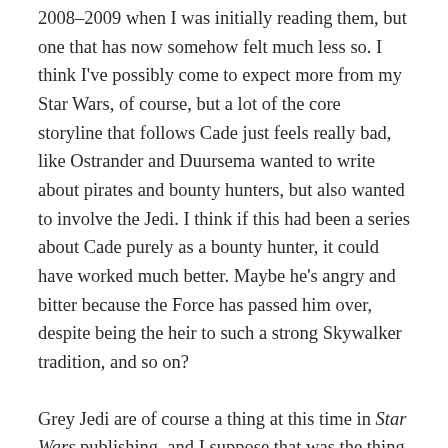2008–2009 when I was initially reading them, but one that has now somehow felt much less so. I think I've possibly come to expect more from my Star Wars, of course, but a lot of the core storyline that follows Cade just feels really bad, like Ostrander and Duursema wanted to write about pirates and bounty hunters, but also wanted to involve the Jedi. I think if this had been a series about Cade purely as a bounty hunter, it could have worked much better. Maybe he's angry and bitter because the Force has passed him over, despite being the heir to such a strong Skywalker tradition, and so on?
Grey Jedi are of course a thing at this time in Star Wars publishing, and I suppose that was the thing they were going for. It's an interesting spin, but the